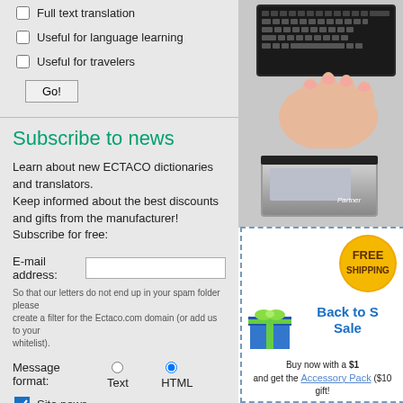Full text translation
Useful for language learning
Useful for travelers
Subscribe to news
Learn about new ECTACO dictionaries and translators.
Keep informed about the best discounts and gifts from the manufacturer!
Subscribe for free:
E-mail address:
So that our letters do not end up in your spam folder please create a filter for the Ectaco.com domain (or add us to your whitelist).
Message format:  Text  HTML
Site news
Products news
Press releases
[Figure (photo): Hand holding a small keyboard device - top portion visible]
[Figure (photo): Silver Partner electronic dictionary device]
Silver
[Figure (infographic): FREE SHIPPING badge (gold circle) with Back to School Sale text in blue, gift box icon, and promotional text about buying with $1 discount and Accessory Pack gift]